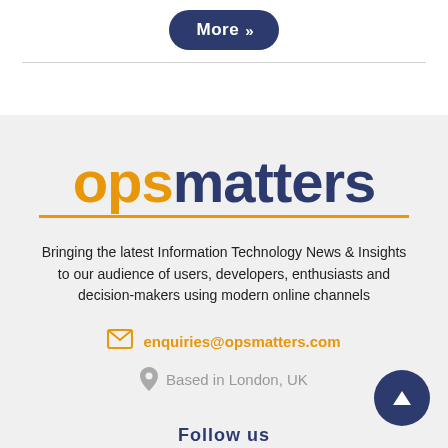[Figure (other): A dark navy pill-shaped button labeled 'More >>' ]
[Figure (logo): opsmatters logo: 'ops' in orange bold, 'matters' in dark navy bold, with an orange underline below the full word]
Bringing the latest Information Technology News & Insights to our audience of users, developers, enthusiasts and decision-makers using modern online channels
enquiries@opsmatters.com
Based in London, UK
Follow us